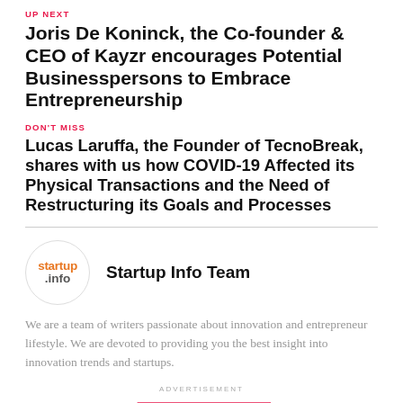UP NEXT
Joris De Koninck, the Co-founder & CEO of Kayzr encourages Potential Businesspersons to Embrace Entrepreneurship
DON'T MISS
Lucas Laruffa, the Founder of TecnoBreak, shares with us how COVID-19 Affected its Physical Transactions and the Need of Restructuring its Goals and Processes
[Figure (logo): startup.info logo inside a circle]
Startup Info Team
We are a team of writers passionate about innovation and entrepreneur lifestyle. We are devoted to providing you the best insight into innovation trends and startups.
ADVERTISEMENT
YOU MAY LIKE